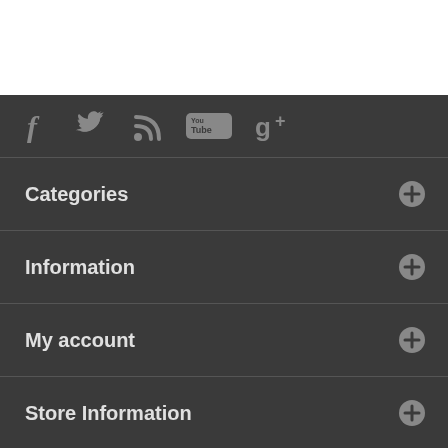[Figure (other): Social media icons: Facebook, Twitter, RSS, YouTube, Google+]
Categories
Information
My account
Store Information